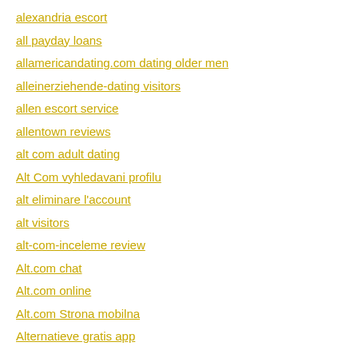alexandria escort
all payday loans
allamericandating.com dating older men
alleinerziehende-dating visitors
allen escort service
allentown reviews
alt com adult dating
Alt Com vyhledavani profilu
alt eliminare l'account
alt visitors
alt-com-inceleme review
Alt.com chat
Alt.com online
Alt.com Strona mobilna
Alternatieve gratis app